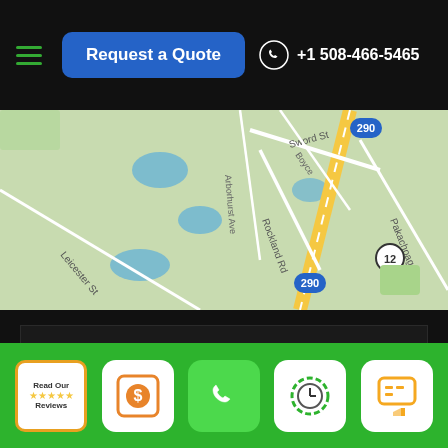Request a Quote  +1 508-466-5465
[Figure (map): Google Maps view showing Worcester Massachusetts area with roads including Sword St, Rockland Rd, Leicester St, Pakachoag St, route 290 and route 12]
HTML SITEMAP: WORCESTER MASSACHUSETTS MOVERS
[Figure (infographic): Row of badge icons: house/real estate badge, A+ rating circle (teal), green forward arrow circle, green chat bubble circle, moving truck badge, American flag circle]
[Figure (infographic): Green footer bar with icons: Read Our Reviews badge with stars, dollar sign quote icon, phone call icon, clock/schedule icon, chat/text icon]